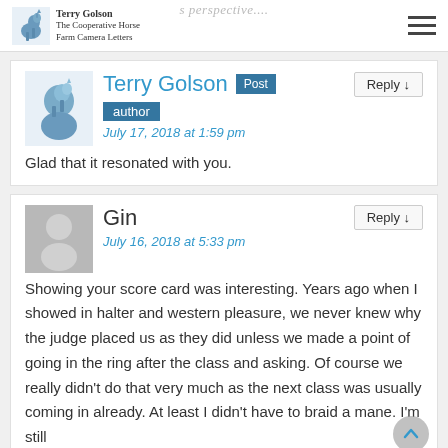Terry Golson - The Cooperative Horse Farm Camera Letters
s perspective....
Terry Golson Post author July 17, 2018 at 1:59 pm
Glad that it resonated with you.
Gin July 16, 2018 at 5:33 pm
Showing your score card was interesting. Years ago when I showed in halter and western pleasure, we never knew why the judge placed us as they did unless we made a point of going in the ring after the class and asking. Of course we really didn't do that very much as the next class was usually coming in already. At least I didn't have to braid a mane. I'm still